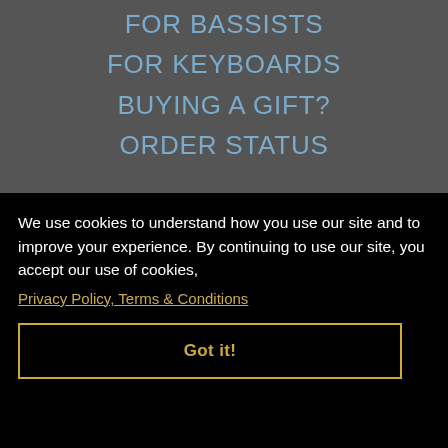FOR BASSISTS
FOR KEYBOARDS
BUYING A GIFT?
ORDER STATUS
We use cookies to understand how you use our site and to improve your experience. By continuing to use our site, you accept our use of cookies,
Privacy Policy, Terms & Conditions
Got it!
TROUBLESHOOTING